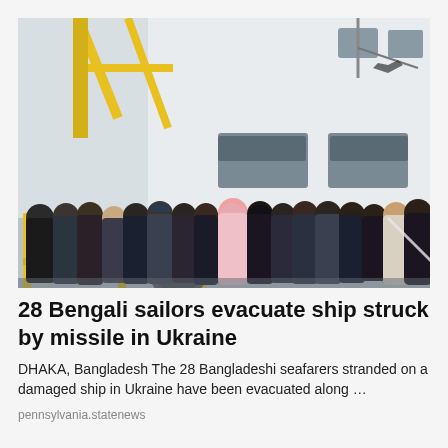[Figure (photo): Group of approximately 28 Bangladeshi sailors/seafarers standing together on or near a ship deck. A large white ship hull is visible in the background with yellow railings. One person in the center wears a pink hijab. The crew members are dressed in dark winter clothing. The photo appears to be taken in overcast/cold weather conditions.]
28 Bengali sailors evacuate ship struck by missile in Ukraine
DHAKA, Bangladesh The 28 Bangladeshi seafarers stranded on a damaged ship in Ukraine have been evacuated along …
pennsylvania.statenews